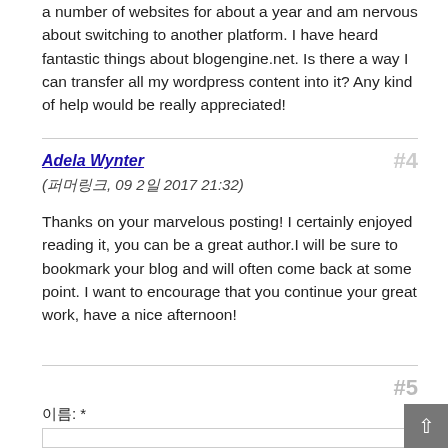a number of websites for about a year and am nervous about switching to another platform. I have heard fantastic things about blogengine.net. Is there a way I can transfer all my wordpress content into it? Any kind of help would be really appreciated!
Adela Wynter
#4
(퍼머링크, 09 2일 2017 21:32)
Thanks on your marvelous posting! I certainly enjoyed reading it, you can be a great author.I will be sure to bookmark your blog and will often come back at some point. I want to encourage that you continue your great work, have a nice afternoon!
#5
이름: *
back to top arrow button